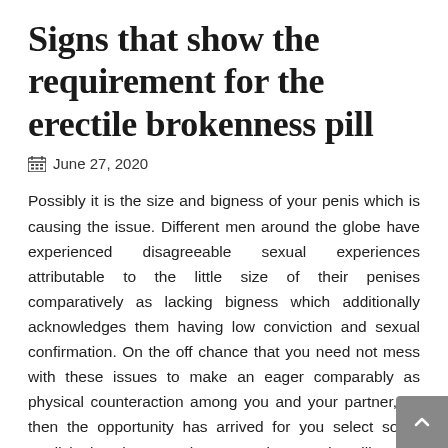Signs that show the requirement for the erectile brokenness pill
June 27, 2020
Possibly it is the size and bigness of your penis which is causing the issue. Different men around the globe have experienced disagreeable sexual experiences attributable to the little size of their penises comparatively as lacking bigness which additionally acknowledges them having low conviction and sexual confirmation. On the off chance that you need not mess with these issues to make an eager comparably as physical counteraction among you and your partner, by then the opportunity has arrived for you select some medicinal assistance. The new male upgrades pills are a helpful consider and can do thinks about for your